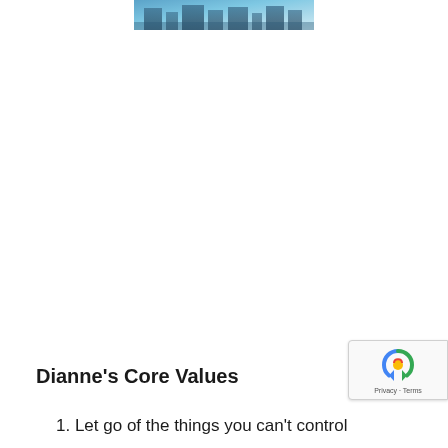[Figure (photo): Partial photo strip at top center, appears to show a blue-toned cityscape or winter scene image]
Dianne’s Core Values
1. Let go of the things you can’t control